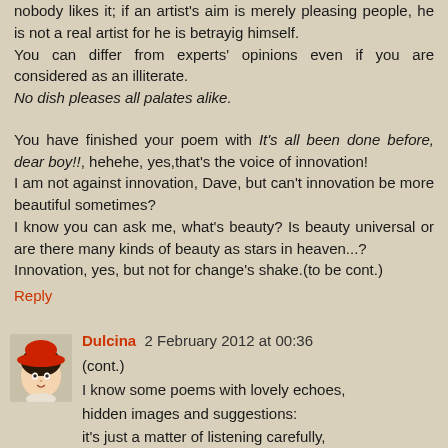nobody likes it; if an artist's aim is merely pleasing people, he is not a real artist for he is betrayig himself. You can differ from experts' opinions even if you are considered as an illiterate. No dish pleases all palates alike.
You have finished your poem with It's all been done before, dear boy!!, hehehe, yes,that's the voice of innovation! I am not against innovation, Dave, but can't innovation be more beautiful sometimes? I know you can ask me, what's beauty? Is beauty universal or are there many kinds of beauty as stars in heaven...? Innovation, yes, but not for change's shake.(to be cont.)
Reply
Dulcina  2 February 2012 at 00:36
[Figure (illustration): Avatar of user Dulcina: cartoon girl with red hat]
(cont.) I know some poems with lovely echoes, hidden images and suggestions: it's just a matter of listening carefully, searching and perceiving beyond words...